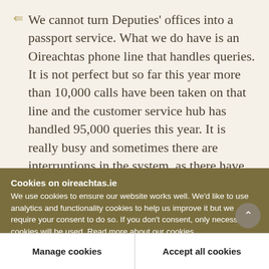We cannot turn Deputies' offices into a passport service. What we do have is an Oireachtas phone line that handles queries. It is not perfect but so far this year more than 10,000 calls have been taken on that line and the customer service hub has handled 95,000 queries this year. It is really busy and sometimes there are interruptions in the system, as there have been over the past few days and when that happens and the public cannot get through on the lines, they contact their local Deputy
Cookies on oireachtas.ie
We use cookies to ensure our website works well. We'd like to use analytics and functionality cookies to help us improve it but we require your consent to do so. If you don't consent, only necessary cookies will be used. Read more about our cookies
Manage cookies
Accept all cookies